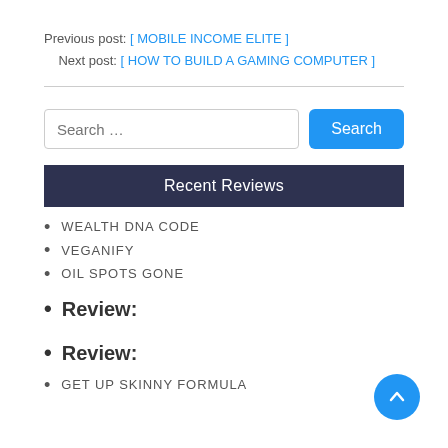Previous post: [ MOBILE INCOME ELITE ]
Next post: [ HOW TO BUILD A GAMING COMPUTER ]
Recent Reviews
WEALTH DNA CODE
VEGANIFY
OIL SPOTS GONE
Review:
Review:
GET UP SKINNY FORMULA